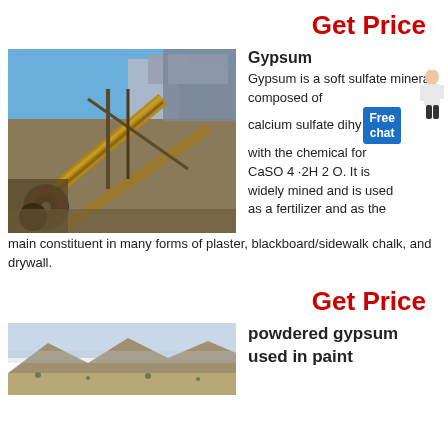Get Price
[Figure (photo): Industrial mining/processing facility with conveyor belts and machinery outdoors under blue sky]
Gypsum
Gypsum is a soft sulfate mineral composed of calcium sulfate dihydrate with the chemical formula CaSO 4 ·2H 2 O. It is widely mined and is used as a fertilizer and as the main constituent in many forms of plaster, blackboard/sidewalk chalk, and drywall.
Get Price
[Figure (photo): Arid desert landscape with mountains and sparse vegetation]
powdered gypsum used in paint